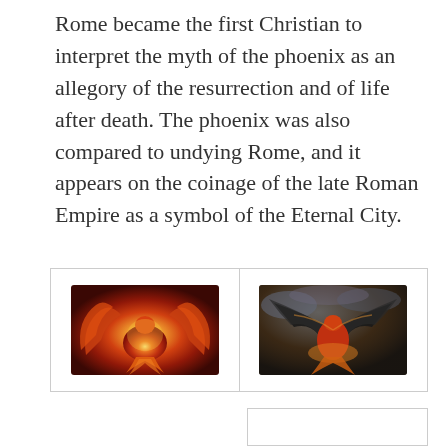Rome became the first Christian to interpret the myth of the phoenix as an allegory of the resurrection and of life after death. The phoenix was also compared to undying Rome, and it appears on the coinage of the late Roman Empire as a symbol of the Eternal City.
[Figure (illustration): Two side-by-side illustrations of phoenixes in a bordered table. Left: a fiery red and orange phoenix with spread wings on a golden background. Right: a dramatic phoenix with dark wings spread wide, red body, against a stormy sky background.]